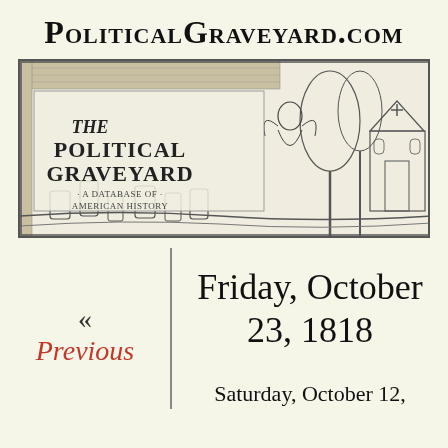PoliticalGraveyard.com
[Figure (illustration): The Political Graveyard banner illustration — a decorative engraving-style image showing a graveyard scene with tombstones, trees, a gothic church, and an angel figure. Text inside reads 'THE POLITICAL GRAVEYARD: A DATABASE OF AMERICAN HISTORY'.]
Friday, October 23, 1818
«
Previous
Saturday, October 12,